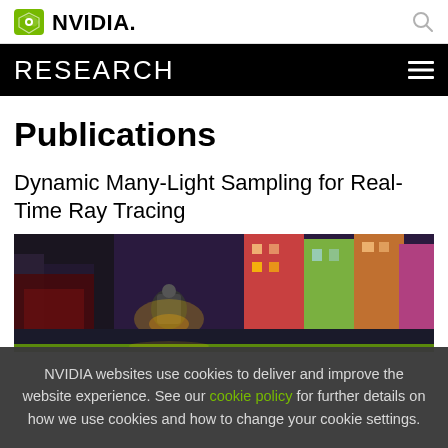NVIDIA Research
Publications
Dynamic Many-Light Sampling for Real-Time Ray Tracing
[Figure (screenshot): Screenshot of a 3D rendered scene showing a night-time street with colorful buildings and a robotic character, from the publication on Dynamic Many-Light Sampling for Real-Time Ray Tracing]
NVIDIA websites use cookies to deliver and improve the website experience. See our cookie policy for further details on how we use cookies and how to change your cookie settings.